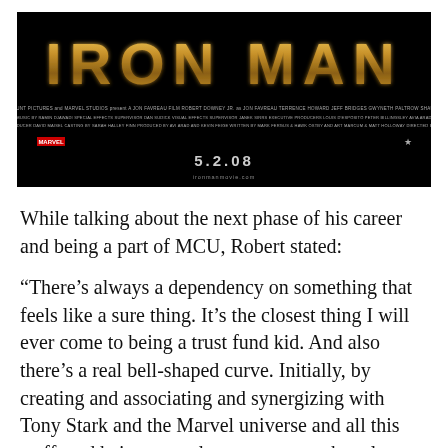[Figure (photo): Iron Man movie poster with golden text title on black background, credits, and release date 5.2.08]
While talking about the next phase of his career and being a part of MCU, Robert stated:
“There’s always a dependency on something that feels like a sure thing. It’s the closest thing I will ever come to being a trust fund kid. And also there’s a real bell-shaped curve. Initially, by creating and associating and synergizing with Tony Stark and the Marvel universe and all this stuff, and being a good company man, but also